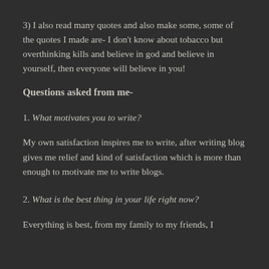3) I also read many quotes and also make some, some of the quotes I made are- I don't know about tobacco but overthinking kills and believe in god and believe in yourself, then everyone will believe in you!
Questions asked from me-
1. What motivates you to write?
My own satisfaction inspires me to write, after writing blog gives me relief and kind of satisfaction which is more than enough to motivate me to write blogs.
2. What is the best thing in your life right now?
Everything is best, from my family to my friends, I